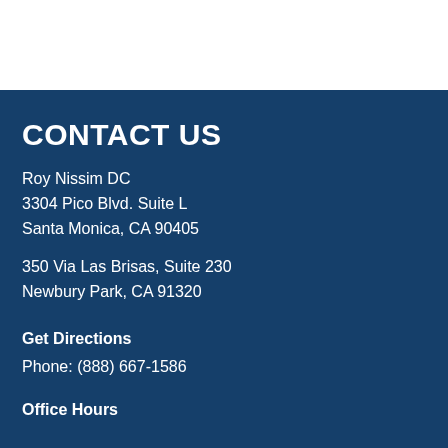CONTACT US
Roy Nissim DC
3304 Pico Blvd. Suite L
Santa Monica, CA 90405
350 Via Las Brisas, Suite 230
Newbury Park, CA 91320
Get Directions
Phone: (888) 667-1586
Office Hours